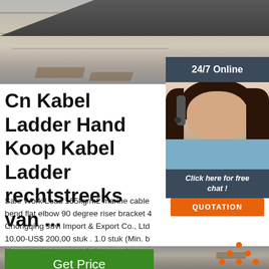[Figure (photo): Top portion of a railway track with gravel/ballast, partially cropped]
[Figure (photo): 24/7 Online badge overlay with female customer service agent wearing headset, with 'Click here for free chat!' text and orange QUOTATION button]
Cn Kabel Ladder Hand Koop Kabel Ladder rechtstreeks van ...
Safe Work Load 165kg/m2 marine cable bend flat elbow 90 degree riser bracket 4 Chongqing Juvi Import & Export Co., Ltd 10,00-US$ 200,00 stuk . 1.0 stuk (Min. b Neem contact op met de leverancier ...
[Figure (illustration): Green 'Get Price' button]
[Figure (logo): Orange TOP badge/logo with dots arranged in triangle shape]
[Figure (photo): Bottom strip showing railway track, partially cropped]